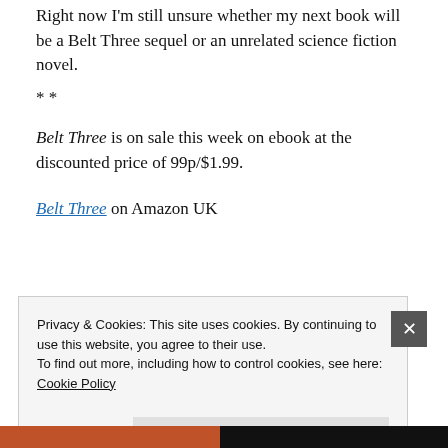Right now I'm still unsure whether my next book will be a Belt Three sequel or an unrelated science fiction novel.
* *
Belt Three is on sale this week on ebook at the discounted price of 99p/$1.99.
Belt Three on Amazon UK
Privacy & Cookies: This site uses cookies. By continuing to use this website, you agree to their use.
To find out more, including how to control cookies, see here:
Cookie Policy
Close and accept